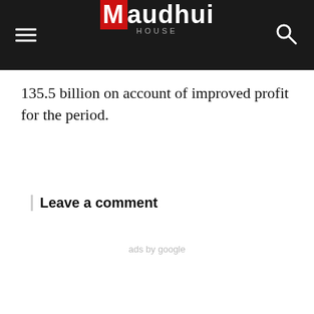Maudhui House
135.5 billion on account of improved profit for the period.
Leave a comment
ads by google